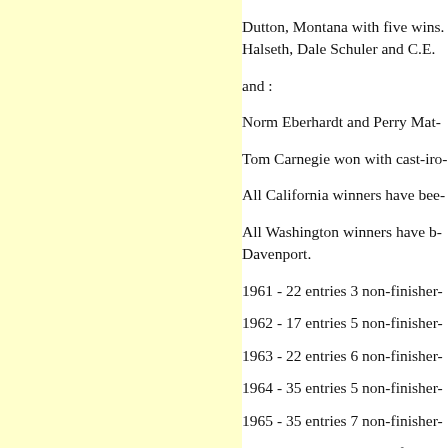Dutton, Montana with five wins. Halseth, Dale Schuler and C.E.
and :
Norm Eberhardt and Perry Mat-
Tom Carnegie won with cast-iro-
All California winners have bee-
All Washington winners have b- Davenport.
1961 - 22 entries 3 non-finisher-
1962 - 17 entries 5 non-finisher-
1963 - 22 entries 6 non-finisher-
1964 - 35 entries 5 non-finisher-
1965 - 35 entries 7 non-finisher-
1966 - 36 entries 14 non-finishe-